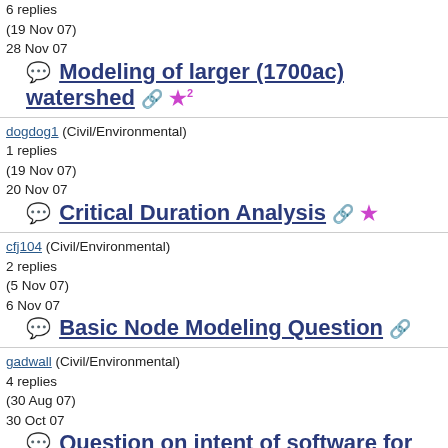6 replies
(19 Nov 07)
28 Nov 07
Modeling of larger (1700ac) watershed
dogdog1 (Civil/Environmental)
1 replies
(19 Nov 07)
20 Nov 07
Critical Duration Analysis
cfj104 (Civil/Environmental)
2 replies
(5 Nov 07)
6 Nov 07
Basic Node Modeling Question
gadwall (Civil/Environmental)
4 replies
(30 Aug 07)
30 Oct 07
Question on intent of software for Mr. Smart
notsocivil (Civil/Environmental)
4 replies
(27 Sep 07)
15 Oct 07